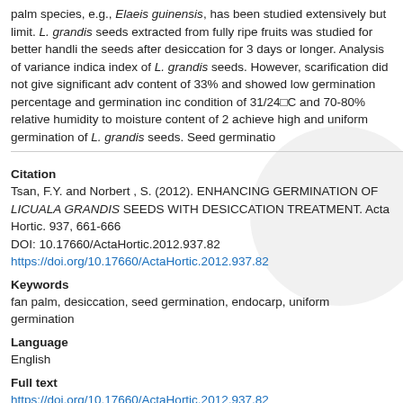palm species, e.g., Elaeis guinensis, has been studied extensively but limit. L. grandis seeds extracted from fully ripe fruits was studied for better handli the seeds after desiccation for 3 days or longer. Analysis of variance indica index of L. grandis seeds. However, scarification did not give significant adv content of 33% and showed low germination percentage and germination inc condition of 31/24°C and 70-80% relative humidity to moisture content of 2 achieve high and uniform germination of L. grandis seeds. Seed germinatio
Citation
Tsan, F.Y. and Norbert , S. (2012). ENHANCING GERMINATION OF LICUALA GRANDIS SEEDS WITH DESICCATION TREATMENT. Acta Hortic. 937, 661-666
DOI: 10.17660/ActaHortic.2012.937.82
https://doi.org/10.17660/ActaHortic.2012.937.82
Keywords
fan palm, desiccation, seed germination, endocarp, uniform germination
Language
English
Full text
https://doi.org/10.17660/ActaHortic.2012.937.82